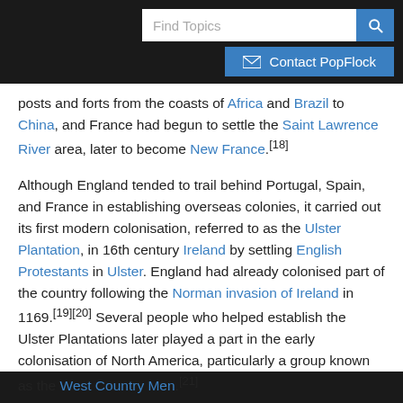[Figure (screenshot): Website header with Find Topics search bar and Contact PopFlock button on dark background]
posts and forts from the coasts of Africa and Brazil to China, and France had begun to settle the Saint Lawrence River area, later to become New France.[18]
Although England tended to trail behind Portugal, Spain, and France in establishing overseas colonies, it carried out its first modern colonisation, referred to as the Ulster Plantation, in 16th century Ireland by settling English Protestants in Ulster. England had already colonised part of the country following the Norman invasion of Ireland in 1169.[19][20] Several people who helped establish the Ulster Plantations later played a part in the early colonisation of North America, particularly a group known as the West Country Men.[21]
English overseas